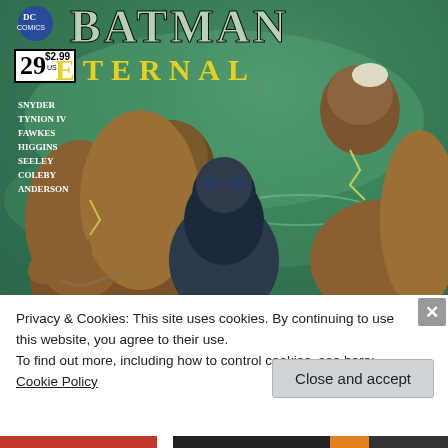[Figure (illustration): Batman Eternal #29 comic book cover showing Batman being attacked by zombie/monster creatures in water. DC Comics New 52 branding. Issue number 29, price $2.99. Creators listed: Snyder, Tynion IV, Fawkes, Higgins, Seeley, Coleby, Anderson.]
Privacy & Cookies: This site uses cookies. By continuing to use this website, you agree to their use.
To find out more, including how to control cookies, see here: Cookie Policy
Close and accept